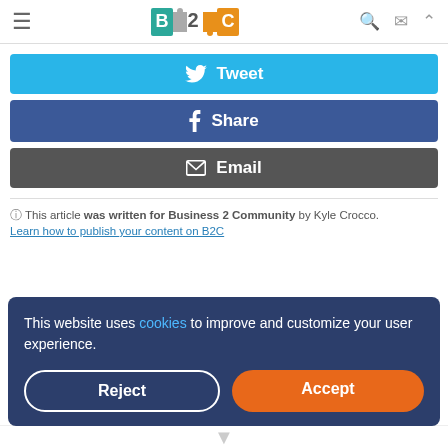B2C — Business 2 Community header with hamburger menu, logo, search, mail, and up-arrow icons
Tweet
Share
Email
This article was written for Business 2 Community by Kyle Crocco. Learn how to publish your content on B2C
This website uses cookies to improve and customize your user experience. [Reject] [Accept]